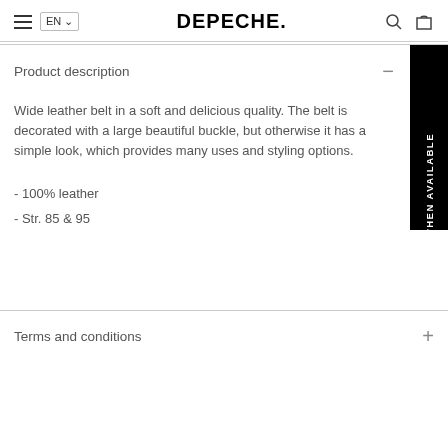DEPECHE.
Product description
Wide leather belt in a soft and delicious quality. The belt is decorated with a large beautiful buckle, but otherwise it has a simple look, which provides many uses and styling options.
- 100% leather
- Str. 85 & 95
Terms and conditions